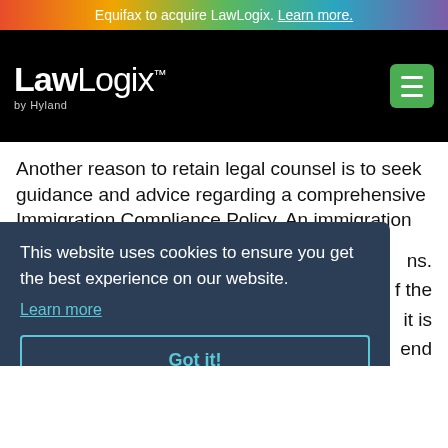Equifax to acquire LawLogix. Learn more.
[Figure (logo): LawLogix by Hyland logo — white text on black background with green hamburger menu button]
Another reason to retain legal counsel is to seek guidance and advice regarding a comprehensive Immigration Compliance Policy. An immigration
This website uses cookies to ensure you get the best experience on our website.
Learn more
Got it!
ns. f the it is end ce.